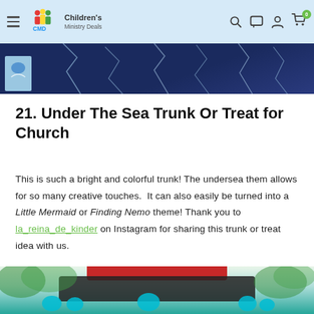Children's Ministry Deals — navigation bar with logo, search, chat, account, and cart icons
[Figure (photo): Close-up photo of a dark cracked surface with a colorful undersea-themed card visible at the lower left]
21. Under The Sea Trunk Or Treat for Church
This is such a bright and colorful trunk! The undersea them allows for so many creative touches. It can also easily be turned into a Little Mermaid or Finding Nemo theme! Thank you to la_reina_de_kinder on Instagram for sharing this trunk or treat idea with us.
[Figure (photo): Photo of a car trunk decorated with teal/turquoise tissue paper pom-poms representing an under-the-sea trunk or treat]